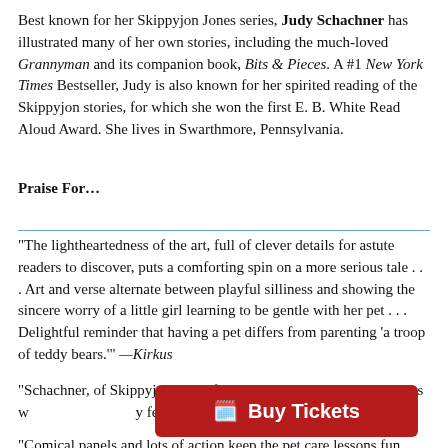Best known for her Skippyjon Jones series, Judy Schachner has illustrated many of her own stories, including the much-loved Grannyman and its companion book, Bits & Pieces. A #1 New York Times Bestseller, Judy is also known for her spirited reading of the Skippyjon stories, for which she won the first E. B. White Read Aloud Award. She lives in Swarthmore, Pennsylvania.
Praise For…
"The lightheartedness of the art, full of clever details for astute readers to discover, puts a comforting spin on a more serious tale . . . Art and verse alternate between playful silliness and showing the sincere worry of a little girl learning to be gentle with her pet . . . Delightful reminder that having a pet differs from parenting 'a troop of teddy bears.'" —Kirkus
"Schachner, of Skippyjon Jones fame, matche sher rhyming stanzas w[ith whimsical watercolor portraits of her characteristica]lly felines, and Bear[s...]
"Comical panels and lots of action keep the pet care lessons fun...